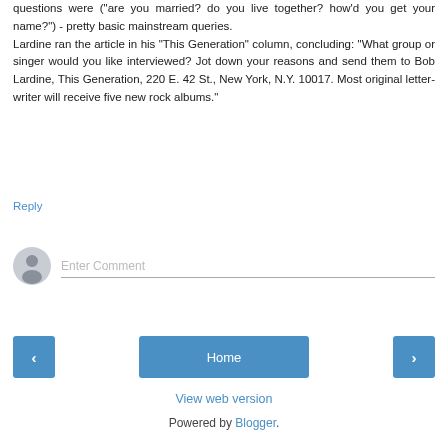questions were ("are you married? do you live together? how'd you get your name?") - pretty basic mainstream queries.
Lardine ran the article in his "This Generation" column, concluding: "What group or singer would you like interviewed? Jot down your reasons and send them to Bob Lardine, This Generation, 220 E. 42 St., New York, N.Y. 10017. Most original letter-writer will receive five new rock albums."
Reply
[Figure (other): User avatar icon - grey silhouette of a person in a circle]
Enter Comment
[Figure (other): Navigation buttons: left arrow, Home button, right arrow]
View web version
Powered by Blogger.